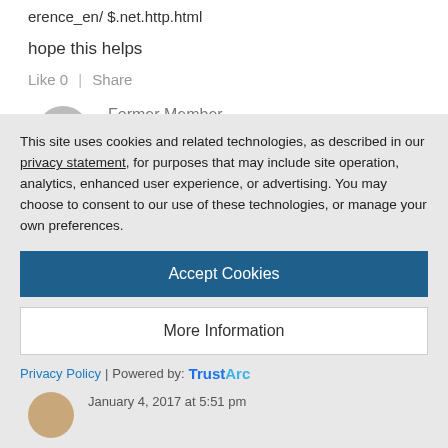erence_en/ $.net.http.html
hope this helps
Like 0  |  Share
Former Member
January 4, 2017 at 4:27 pm
Hi Sergio Guerrero,
Now my problem is library sap.bc.cmis
This site uses cookies and related technologies, as described in our privacy statement, for purposes that may include site operation, analytics, enhanced user experience, or advertising. You may choose to consent to our use of these technologies, or manage your own preferences.
Accept Cookies
More Information
Privacy Policy | Powered by: TrustArc